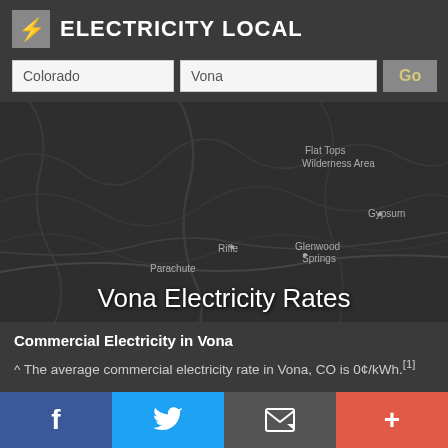Electricity Local
Colorado | Vona | Go
[Figure (map): Dark-themed map showing western Colorado region with labels: Flat Tops Wilderness Area, Gypsum, Glenwood Springs, Rifle, Parachute]
Vona Electricity Rates
Commercial Electricity in Vona
^ The average commercial electricity rate in Vona, CO is 0¢/kWh.[1]